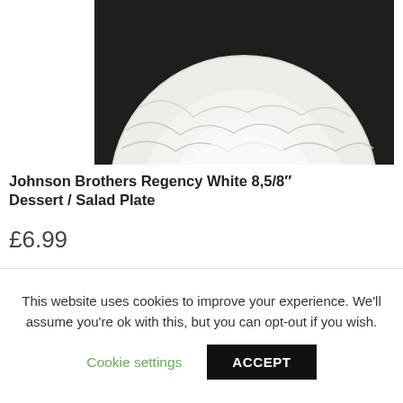[Figure (photo): A white ceramic dessert/salad plate with swirl/wave embossed pattern on dark background, showing upper half of the plate.]
Johnson Brothers Regency White 8,5/8" Dessert / Salad Plate
£6.99
[Figure (photo): Partially visible product image on a grey-brown background, bottom portion of next product listing.]
This website uses cookies to improve your experience. We'll assume you're ok with this, but you can opt-out if you wish.
Cookie settings   ACCEPT